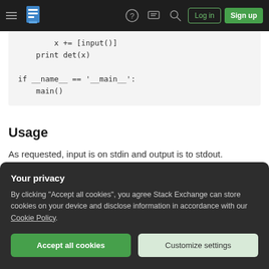Stack Exchange navigation bar with hamburger menu, logo, help, chat, search, Log in, Sign up
x += [input()]
    print det(x)

if __name__ == '__main__':
    main()
Usage
As requested, input is on stdin and output is to stdout.
I interpreted columns separated by any space char
Your privacy
By clicking "Accept all cookies", you agree Stack Exchange can store cookies on your device and disclose information in accordance with our Cookie Policy.